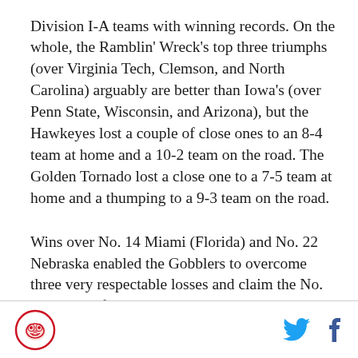Division I-A teams with winning records. On the whole, the Ramblin' Wreck's top three triumphs (over Virginia Tech, Clemson, and North Carolina) arguably are better than Iowa's (over Penn State, Wisconsin, and Arizona), but the Hawkeyes lost a couple of close ones to an 8-4 team at home and a 10-2 team on the road. The Golden Tornado lost a close one to a 7-5 team at home and a thumping to a 9-3 team on the road.
Wins over No. 14 Miami (Florida) and No. 22 Nebraska enabled the Gobblers to overcome three very respectable losses and claim the No. 11 ranking for VPI, while the Pittsburgh Panthers (9-2) staked an admittedly shaky claim to the No. 12 spot with victories over Rutgers, Navy, and South Florida. Both of Pitt's